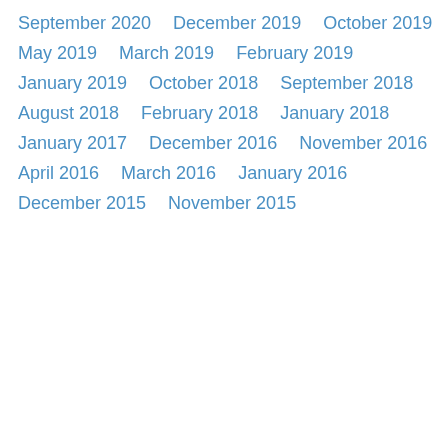September 2020
December 2019
October 2019
May 2019
March 2019
February 2019
January 2019
October 2018
September 2018
August 2018
February 2018
January 2018
January 2017
December 2016
November 2016
April 2016
March 2016
January 2016
December 2015
November 2015